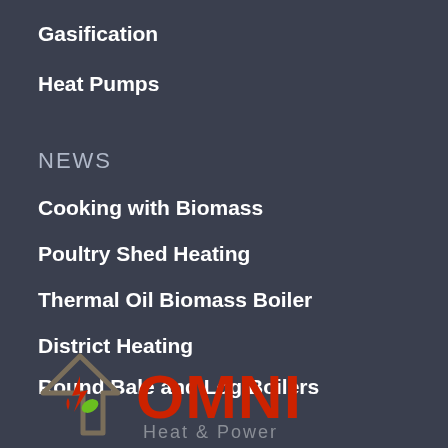Gasification
Heat Pumps
NEWS
Cooking with Biomass
Poultry Shed Heating
Thermal Oil Biomass Boiler
District Heating
Round Bale and Log Boilers
[Figure (logo): OMNI Heat & Power logo: stylized house outline with lightning bolt and leaf, accompanied by red OMNI text and grey Heat & Power text]